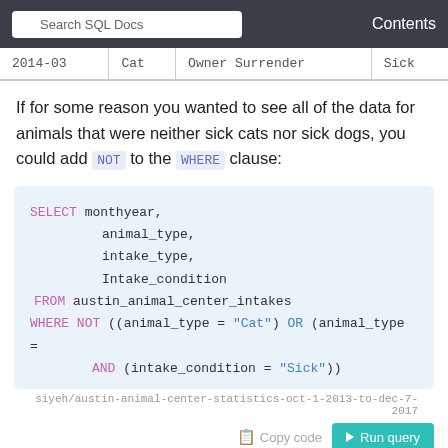Search SQL Docs  Contents
| 2014-03 | Cat | Owner Surrender | Sick |
If for some reason you wanted to see all of the data for animals that were neither sick cats nor sick dogs, you could add NOT to the WHERE clause:
SELECT monthyear,
       animal_type,
       intake_type,
       Intake_condition
  FROM austin_animal_center_intakes
 WHERE NOT ((animal_type = "Cat") OR (animal_type =
       AND (intake_condition = "Sick"))
siyeh/austin-animal-center-statistics-oct-1-2013-to-dec-7-2017